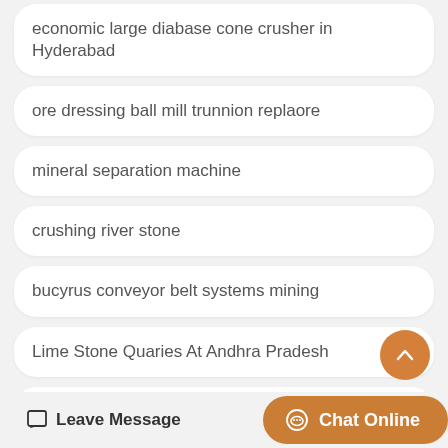economic large diabase cone crusher in Hyderabad
ore dressing ball mill trunnion replaore
mineral separation machine
crushing river stone
bucyrus conveyor belt systems mining
Lime Stone Quaries At Andhra Pradesh
price of stone chips crusher in Jharkhand
Leave Message  Chat Online